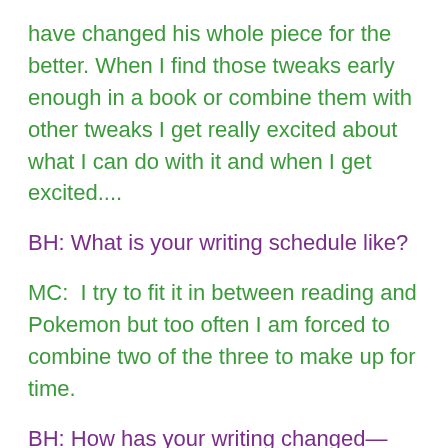have changed his whole piece for the better. When I find those tweaks early enough in a book or combine them with other tweaks I get really excited about what I can do with it and when I get excited....
BH: What is your writing schedule like?
MC:  I try to fit it in between reading and Pokemon but too often I am forced to combine two of the three to make up for time.
BH: How has your writing changed—either the scheduling or the experience itself—after becoming a father?